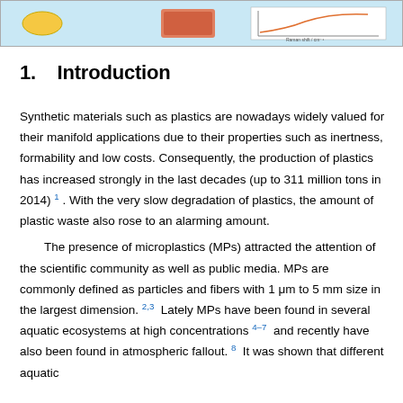[Figure (illustration): Top portion of a scientific figure showing a light blue panel with small icons/images including a yellow capsule shape on the left and what appears to be an organism image in the center, with a graph/chart on the right side showing axes labeled with values.]
1.   Introduction
Synthetic materials such as plastics are nowadays widely valued for their manifold applications due to their properties such as inertness, formability and low costs. Consequently, the production of plastics has increased strongly in the last decades (up to 311 million tons in 2014) 1 . With the very slow degradation of plastics, the amount of plastic waste also rose to an alarming amount.
The presence of microplastics (MPs) attracted the attention of the scientific community as well as public media. MPs are commonly defined as particles and fibers with 1 μm to 5 mm size in the largest dimension. 2,3  Lately MPs have been found in several aquatic ecosystems at high concentrations 4–7  and recently have also been found in atmospheric fallout. 8  It was shown that different aquatic